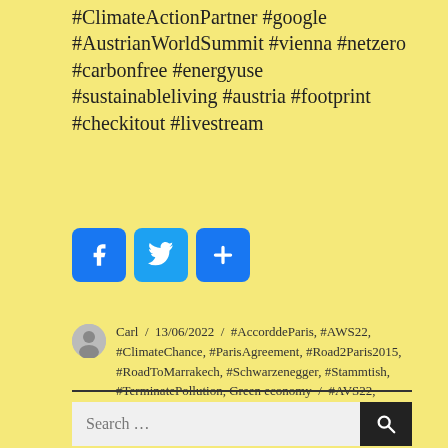#ClimateActionPartner #google #AustrianWorldSummit #vienna #netzero #carbonfree #energyuse #sustainableliving #austria #footprint #checkitout #livestream
[Figure (other): Social sharing icons: Facebook (blue), Twitter (blue), Share/Add (blue) buttons]
Carl / 13/06/2022 / #AccorddeParis, #AWS22, #ClimateChance, #ParisAgreement, #Road2Paris2015, #RoadToMarrakech, #Schwarzenegger, #Stammtish, #TerminatePollution, Green economy / #AVS22, Climate Chance / Leave a comment
Search ...